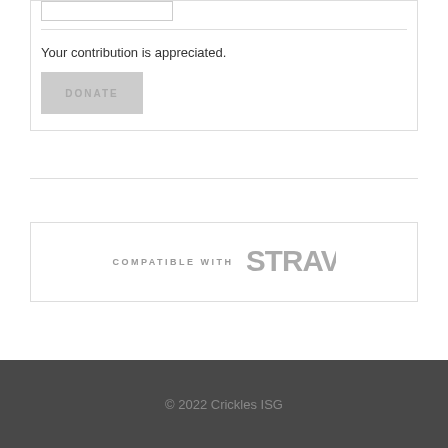Your contribution is appreciated.
[Figure (logo): Compatible with STRAVA logo badge — grey on white background]
© 2022 Crickles ISG